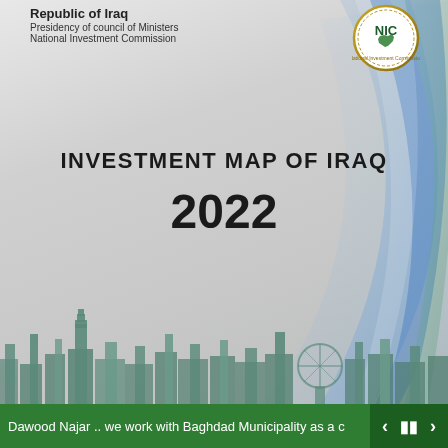Republic of Iraq
Presidency of council of Ministers
National Investment Commission
[Figure (logo): NIC - National Investment Commission circular seal/logo with green map of Iraq in center]
INVESTMENT MAP OF IRAQ
2022
[Figure (illustration): Decorative swoosh lines in blue and green over grey gradient background with city skyline silhouette at bottom]
Dawood Najar .. we work with Baghdad Municipality as a c